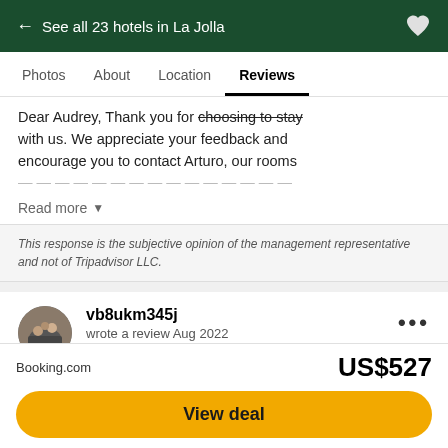← See all 23 hotels in La Jolla
Photos  About  Location  Reviews
Dear Audrey, Thank you for choosing to stay with us. We appreciate your feedback and encourage you to contact Arturo, our rooms…
Read more ▼
This response is the subjective opinion of the management representative and not of Tripadvisor LLC.
vb8ukm345j
wrote a review Aug 2022
Chicago, Illinois
1 contribution
Rating: 2 out of 5 (circle rating)
Booking.com  US$527
View deal